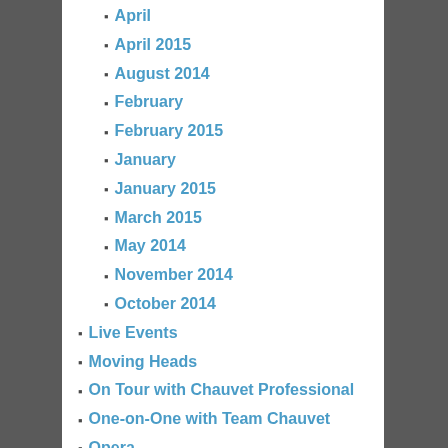April
April 2015
August 2014
February
February 2015
January
January 2015
March 2015
May 2014
November 2014
October 2014
Live Events
Moving Heads
On Tour with Chauvet Professional
One-on-One with Team Chauvet
Opera
Pixel Mapping
PLASA
Pro Product News
Random Awesomeness
ROGUE
Shows of the trade